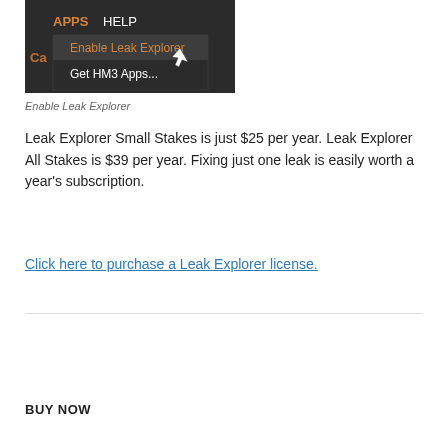[Figure (screenshot): Screenshot of a dark-themed application menu showing 'APPS' and 'HELP' menu items, with a dropdown containing 'Enable Leak Explorer' (highlighted in orange) and 'Get HM3 Apps...' options, with a mouse cursor visible]
Enable Leak Explorer
Leak Explorer Small Stakes is just $25 per year. Leak Explorer All Stakes is $39 per year. Fixing just one leak is easily worth a year's subscription.
Click here to purchase a Leak Explorer license.
BUY NOW